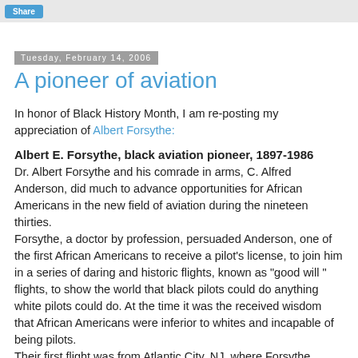Share
Tuesday, February 14, 2006
A pioneer of aviation
In honor of Black History Month, I am re-posting my appreciation of Albert Forsythe:
Albert E. Forsythe, black aviation pioneer, 1897-1986
Dr. Albert Forsythe and his comrade in arms, C. Alfred Anderson, did much to advance opportunities for African Americans in the new field of aviation during the nineteen thirties.
Forsythe, a doctor by profession, persuaded Anderson, one of the first African Americans to receive a pilot's license, to join him in a series of daring and historic flights, known as "good will " flights, to show the world that black pilots could do anything white pilots could do. At the time it was the received wisdom that African Americans were inferior to whites and incapable of being pilots.
Their first flight was from Atlantic City, NJ, where Forsythe